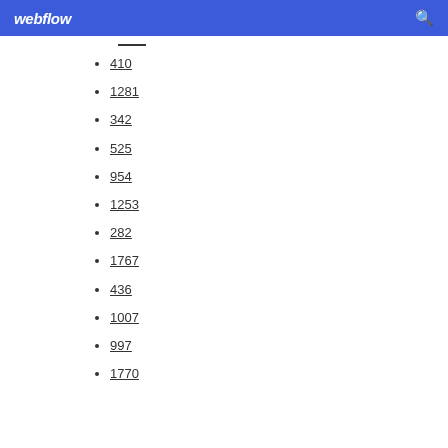webflow
410
1281
342
525
954
1253
282
1767
436
1007
997
1770